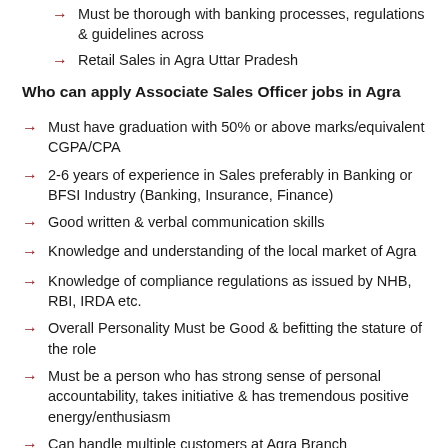Must be thorough with banking processes, regulations & guidelines across
Retail Sales in Agra Uttar Pradesh
Who can apply Associate Sales Officer jobs in Agra
Must have graduation with 50% or above marks/equivalent CGPA/CPA
2-6 years of experience in Sales preferably in Banking or BFSI Industry (Banking, Insurance, Finance)
Good written & verbal communication skills
Knowledge and understanding of the local market of Agra
Knowledge of compliance regulations as issued by NHB, RBI, IRDA etc.
Overall Personality Must be Good & befitting the stature of the role
Must be a person who has strong sense of personal accountability, takes initiative & has tremendous positive energy/enthusiasm
Can handle multiple customers at Agra Branch